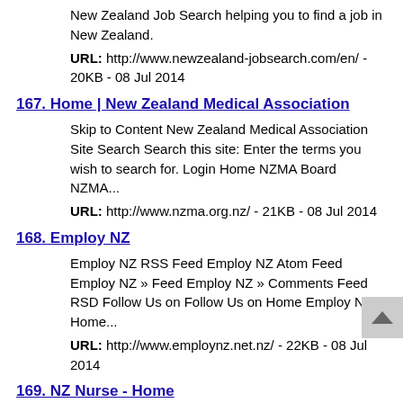New Zealand Job Search helping you to find a job in New Zealand.
URL: http://www.newzealand-jobsearch.com/en/ - 20KB - 08 Jul 2014
167. Home | New Zealand Medical Association
Skip to Content New Zealand Medical Association Site Search Search this site: Enter the terms you wish to search for. Login Home NZMA Board NZMA...
URL: http://www.nzma.org.nz/ - 21KB - 08 Jul 2014
168. Employ NZ
Employ NZ RSS Feed Employ NZ Atom Feed Employ NZ » Feed Employ NZ » Comments Feed RSD Follow Us on Follow Us on Home Employ NZ Home...
URL: http://www.employnz.net.nz/ - 22KB - 08 Jul 2014
169. NZ Nurse - Home
NZnurse.com lists vacancies for registered nurses (RNs), Nurse Practitioners, Midwives, Enrolled Nurses and Nursing Assistants. We list nursing jobs in New Zealand (NZ) and overseas (Australia and UK).